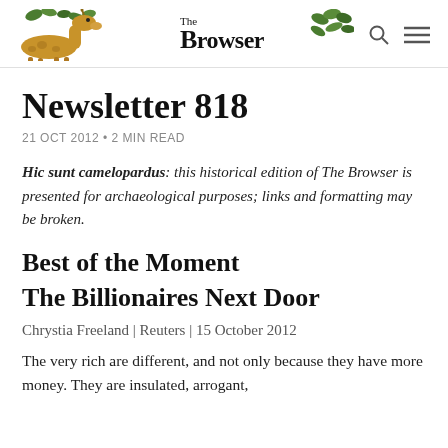[Figure (logo): The Browser website header with illustrated giraffe on left, 'The Browser' logo text in center, leaf illustration on right, search icon and menu icon]
Newsletter 818
21 OCT 2012 • 2 MIN READ
Hic sunt camelopardus: this historical edition of The Browser is presented for archaeological purposes; links and formatting may be broken.
Best of the Moment
The Billionaires Next Door
Chrystia Freeland | Reuters | 15 October 2012
The very rich are different, and not only because they have more money. They are insulated, arrogant,